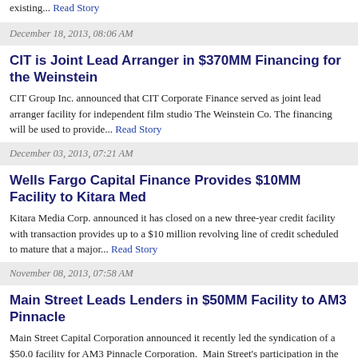existing... Read Story
December 18, 2013, 08:06 AM
CIT is Joint Lead Arranger in $370MM Financing for the Weinstein
CIT Group Inc. announced that CIT Corporate Finance served as joint lead arranger facility for independent film studio The Weinstein Co. The financing will be used to provide... Read Story
December 03, 2013, 07:21 AM
Wells Fargo Capital Finance Provides $10MM Facility to Kitara Med
Kitara Media Corp. announced it has closed on a new three-year credit facility with transaction provides up to a $10 million revolving line of credit scheduled to mature that a major... Read Story
November 08, 2013, 07:58 AM
Main Street Leads Lenders in $50MM Facility to AM3 Pinnacle
Main Street Capital Corporation announced it recently led the syndication of a $50.0 facility for AM3 Pinnacle Corporation. Main Street's participation in the facility was Read Story
October 29, 2013, 07:16 AM